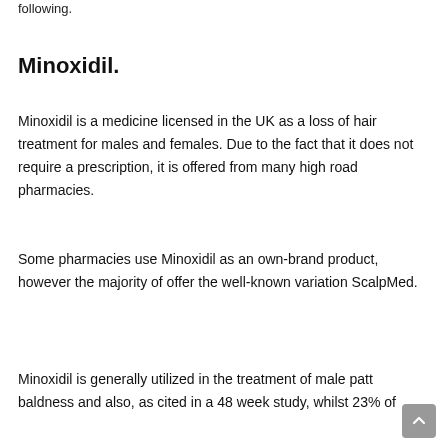following:
Minoxidil.
Minoxidil is a medicine licensed in the UK as a loss of hair treatment for males and females. Due to the fact that it does not require a prescription, it is offered from many high road pharmacies.
Some pharmacies use Minoxidil as an own-brand product, however the majority of offer the well-known variation ScalpMed.
Minoxidil is generally utilized in the treatment of male pattern baldness and also, as cited in a 48 week study, whilst 23% of